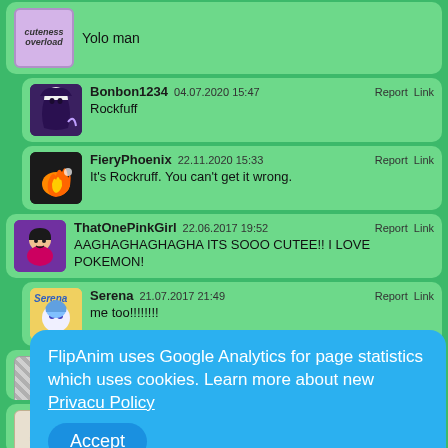Yolo man
Bonbon1234 04.07.2020 15:47 Report Link
Rockfuff
FieryPhoenix 22.11.2020 15:33 Report Link
It's Rockruff. You can't get it wrong.
ThatOnePinkGirl 22.06.2017 19:52 Report Link
AAGHAGHAGHAGHAGHA ITS SOOO CUTEE!! I LOVE POKEMON!
Serena 21.07.2017 21:49 Report Link
me too!!!!!!!!
FlipAnim uses Google Analytics for page statistics which uses cookies. Learn more about new Privacy Policy
Accept